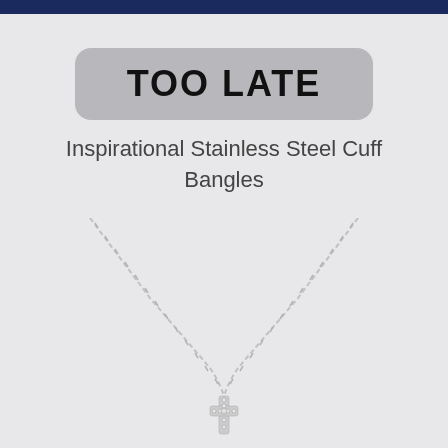TOO LATE
Inspirational Stainless Steel Cuff Bangles
[Figure (photo): A silver chain necklace with a crystal/rhinestone encrusted cross pendant, photographed on a light grey background. The chain forms a V-shape and the pendant hangs at the bottom center.]